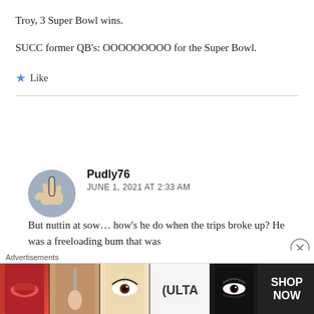Troy, 3 Super Bowl wins.
SUCC former QB's: OOOOOOOOO for the Super Bowl.
★ Like
Pudly76
JUNE 1, 2021 AT 2:33 AM
But nuttin at sow… how's he do when the trips broke up? He was a freeloading bum that was
Advertisements